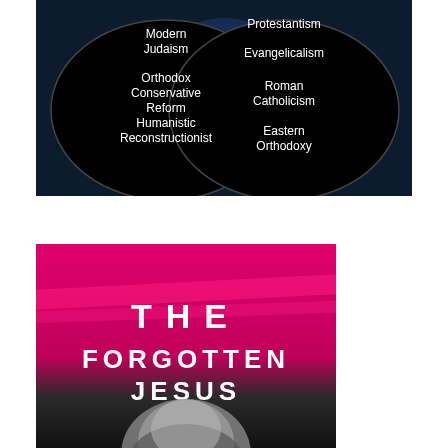[Figure (illustration): Dark navy background with two black ovals side by side. Left oval contains white text listing Jewish denominations: Modern Judaism, Orthodox, Conservative, Reform, Humanistic, Reconstructionist. Right oval contains white text listing Christian denominations: Protestantism, Evangelicalism, Roman Catholicism, Eastern Orthodoxy.]
[Figure (illustration): Book cover for 'The Forgotten Jesus' with hot pink/magenta background, bold white uppercase text reading THE FORGOTTEN JESUS, and a black-and-white image of a bearded man's face at the bottom.]